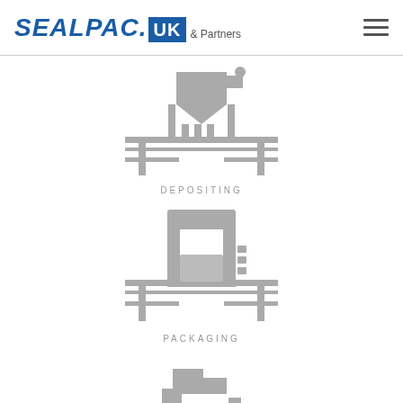SEALPAC UK & Partners
[Figure (illustration): Grey icon illustration of a depositing machine on a conveyor frame]
DEPOSITING
[Figure (illustration): Grey icon illustration of a packaging machine on a conveyor frame]
PACKAGING
[Figure (illustration): Grey icon illustration of a third machine type, partially visible at bottom of page]